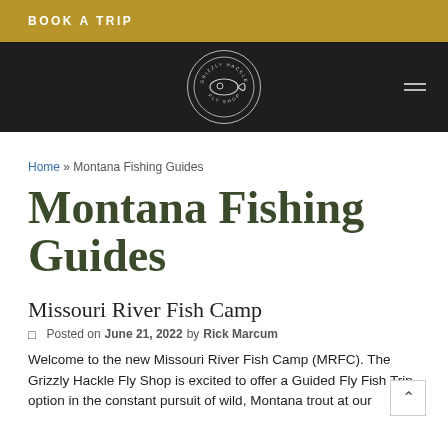BOOK A TRIP
[Figure (logo): Grizzly Hackle Fly Shop circular logo on dark navigation bar]
Home » Montana Fishing Guides
Montana Fishing Guides
Missouri River Fish Camp
Posted on June 21, 2022 by Rick Marcum
Welcome to the new Missouri River Fish Camp (MRFC). The Grizzly Hackle Fly Shop is excited to offer a Guided Fly Fish Trip option in the constant pursuit of wild, Montana trout at our